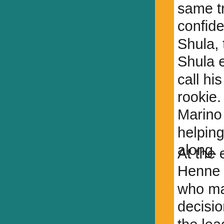same trust and confidence from Don Shula, to the point that Shula even let Marino call his own plays as a rookie. To this day, Marino credits this for helping his development along.
At the end of the day, Henne has to be the one who makes the good decisions and provides the leadership the offense needs to succeed. The Dolphins have